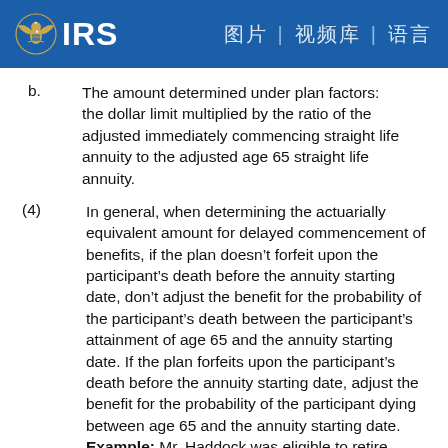IRS | [navigation icons]
b. The amount determined under plan factors: the dollar limit multiplied by the ratio of the adjusted immediately commencing straight life annuity to the adjusted age 65 straight life annuity.
(4) In general, when determining the actuarially equivalent amount for delayed commencement of benefits, if the plan doesn’t forfeit upon the participant’s death before the annuity starting date, don’t adjust the benefit for the probability of the participant’s death between the participant’s attainment of age 65 and the annuity starting date. If the plan forfeits upon the participant’s death before the annuity starting date, adjust the benefit for the probability of the participant dying between age 65 and the annuity starting date. Example: Mr. Haddock was eligible to retire